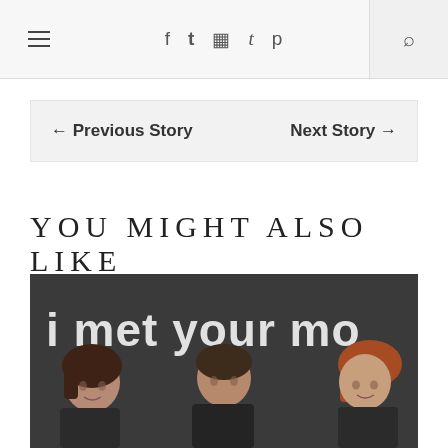☰  f  t  instagram  t  p  🔍
← Previous Story    Next Story →
YOU MIGHT ALSO LIKE
[Figure (photo): Cast photo from the TV show 'How I Met Your Mother' — three cast members visible in front of a dark background with white text reading 'i met your mo...' (truncated)]